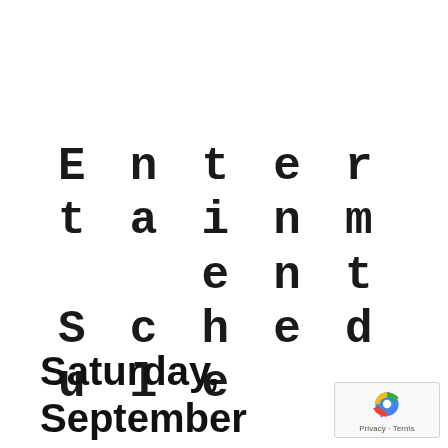Entertainment Schedule
Saturday, September 3rd